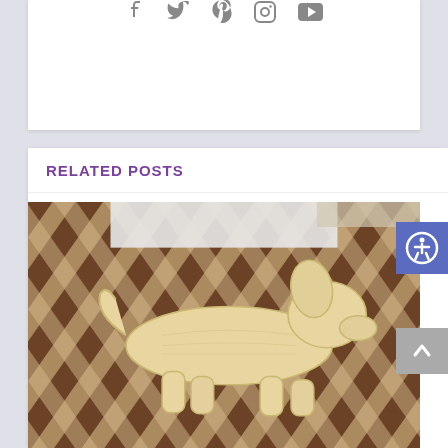[Figure (other): Social media icons row: Facebook, Twitter, Pinterest, Instagram, YouTube icons in gray]
RELATED POSTS
[Figure (photo): Wooden dachshund dog cutout shape placed on a black and white woven/rattan surface with brown wood grain visible underneath]